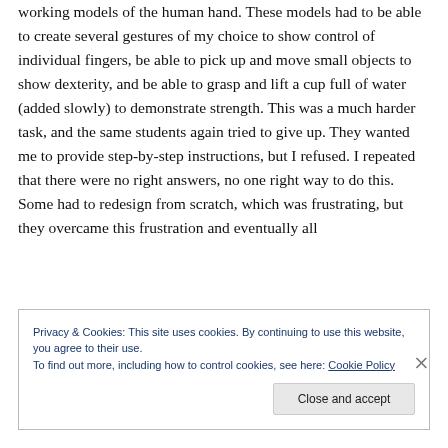working models of the human hand. These models had to be able to create several gestures of my choice to show control of individual fingers, be able to pick up and move small objects to show dexterity, and be able to grasp and lift a cup full of water (added slowly) to demonstrate strength. This was a much harder task, and the same students again tried to give up. They wanted me to provide step-by-step instructions, but I refused. I repeated that there were no right answers, no one right way to do this. Some had to redesign from scratch, which was frustrating, but they overcame this frustration and eventually all
Privacy & Cookies: This site uses cookies. By continuing to use this website, you agree to their use. To find out more, including how to control cookies, see here: Cookie Policy